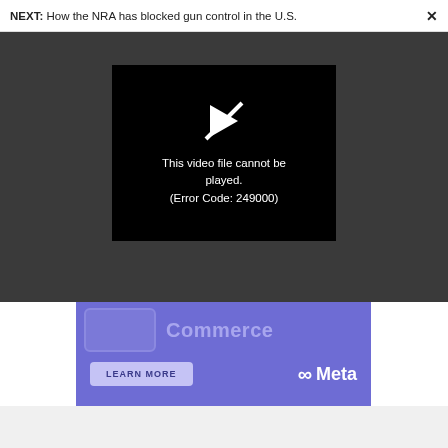NEXT: How the NRA has blocked gun control in the U.S.  ×
[Figure (screenshot): Video player error screen on dark background showing broken play icon and error message: This video file cannot be played. (Error Code: 249000)]
This video file cannot be played. (Error Code: 249000)
[Figure (screenshot): Meta advertisement banner with purple background showing Commerce text, LEARN MORE button, and Meta logo with infinity symbol]